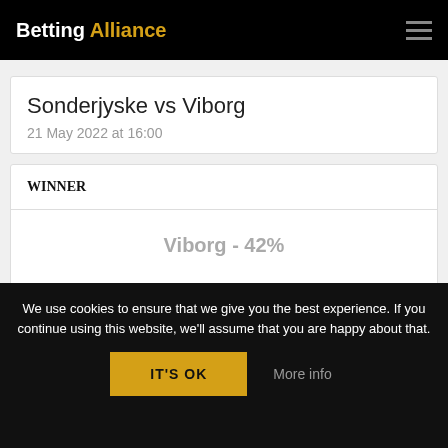Betting Alliance
Sonderjyske vs Viborg
21 May 2022 at 16:00
WINNER
Viborg - 42%
We use cookies to ensure that we give you the best experience. If you continue using this website, we'll assume that you are happy about that.
IT'S OK
More info